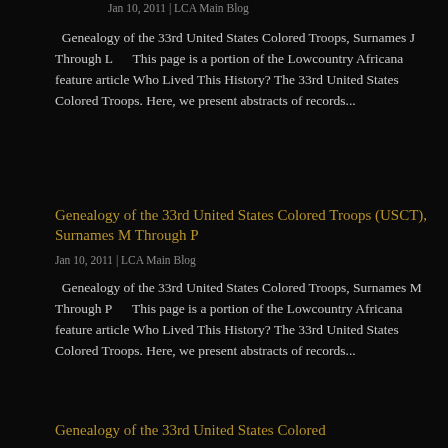Jan 10, 2011 | LCA Main Blog
Genealogy of the 33rd United States Colored Troops, Surnames J Through L      This page is a portion of the Lowcountry Africana feature article Who Lived This History? The 33rd United States Colored Troops. Here, we present abstracts of records...
Genealogy of the 33rd United States Colored Troops (USCT), Surnames M Through P
Jan 10, 2011 | LCA Main Blog
Genealogy of the 33rd United States Colored Troops, Surnames M Through P      This page is a portion of the Lowcountry Africana feature article Who Lived This History? The 33rd United States Colored Troops. Here, we present abstracts of records...
Genealogy of the 33rd United States Colored